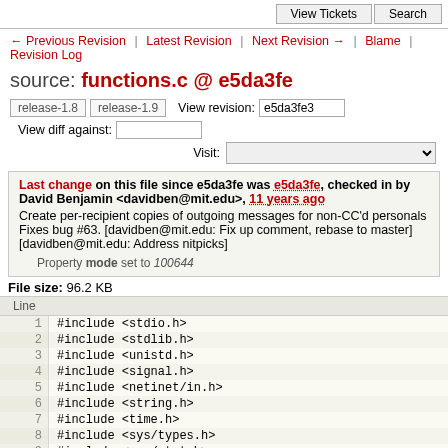View Tickets | Search
← Previous Revision | Latest Revision | Next Revision → | Blame | Revision Log
source: functions.c @ e5da3fe
release-1.8  release-1.9  View revision: e5da3fe3  View diff against:
Visit:
Last change on this file since e5da3fe was e5da3fe, checked in by David Benjamin <davidben@mit.edu>, 11 years ago
Create per-recipient copies of outgoing messages for non-CC'd personals Fixes bug #63. [davidben@mit.edu: Fix up comment, rebase to master] [davidben@mit.edu: Address nitpicks]
Property mode set to 100644
File size: 96.2 KB
| Line |  |
| --- | --- |
| 1 | #include <stdio.h> |
| 2 | #include <stdlib.h> |
| 3 | #include <unistd.h> |
| 4 | #include <signal.h> |
| 5 | #include <netinet/in.h> |
| 6 | #include <string.h> |
| 7 | #include <time.h> |
| 8 | #include <sys/types.h> |
| 9 | #include <sys/stat.h> |
| 10 | #include <sys/wait.h> |
| 11 | #include <errno.h> |
| 12 | #include <signal.h> |
| 13 | #include "owl.h" |
| 14 | #include "filterproc.h" |